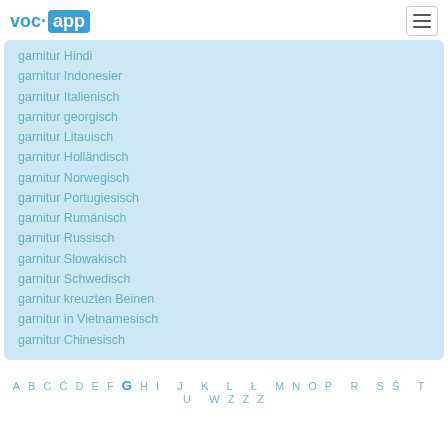VOC·app
garnitur Hindi
garnitur Indonesier
garnitur Italienisch
garnitur georgisch
garnitur Litauisch
garnitur Holländisch
garnitur Norwegisch
garnitur Portugiesisch
garnitur Rumänisch
garnitur Russisch
garnitur Slowakisch
garnitur Schwedisch
garnitur kreuzten Beinen
garnitur in Vietnamesisch
garnitur Chinesisch
A B C Ć D E F G H I  J  K  L  Ł  M N O P R S Ś T U W Z Ź Ż